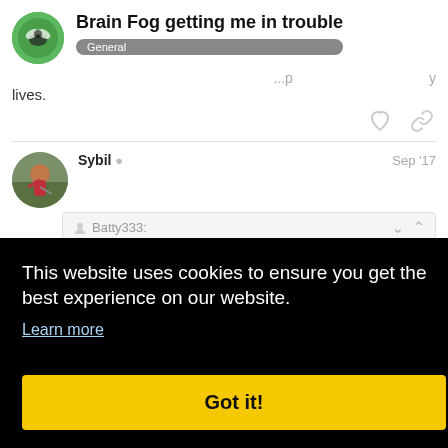Brain Fog getting me in trouble
General
lives.
Sybil  Sep '17
Batty333:
put
This website uses cookies to ensure you get the best experience on our website.
Learn more
Got it!